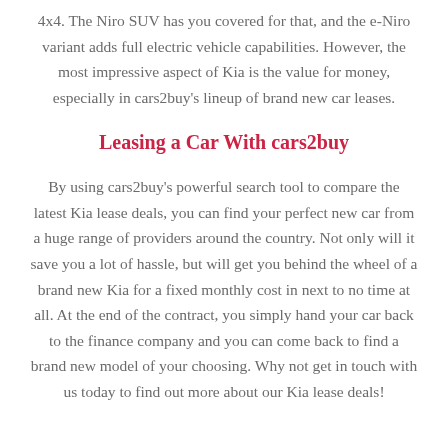4x4. The Niro SUV has you covered for that, and the e-Niro variant adds full electric vehicle capabilities. However, the most impressive aspect of Kia is the value for money, especially in cars2buy's lineup of brand new car leases.
Leasing a Car With cars2buy
By using cars2buy's powerful search tool to compare the latest Kia lease deals, you can find your perfect new car from a huge range of providers around the country. Not only will it save you a lot of hassle, but will get you behind the wheel of a brand new Kia for a fixed monthly cost in next to no time at all. At the end of the contract, you simply hand your car back to the finance company and you can come back to find a brand new model of your choosing. Why not get in touch with us today to find out more about our Kia lease deals!